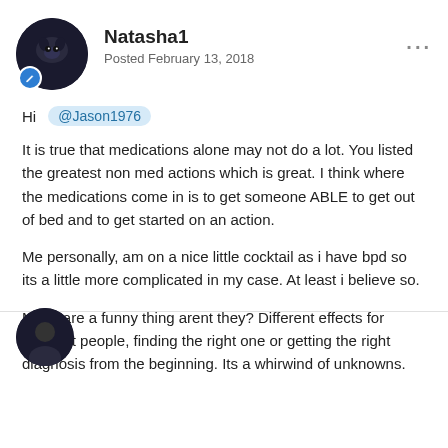[Figure (photo): User avatar – dark circular profile photo with animal silhouette, with a blue edit badge]
Natasha1
Posted February 13, 2018
Hi @Jason1976
It is true that medications alone may not do a lot. You listed the greatest non med actions which is great. I think where the medications come in is to get someone ABLE to get out of bed and to get started on an action.
Me personally, am on a nice little cocktail as i have bpd so its a little more complicated in my case. At least i believe so.
Meds are a funny thing arent they? Different effects for different people, finding the right one or getting the right diagnosis from the beginning. Its a whirwind of unknowns.
[Figure (photo): Partial next user avatar at bottom of page – dark circular profile photo]